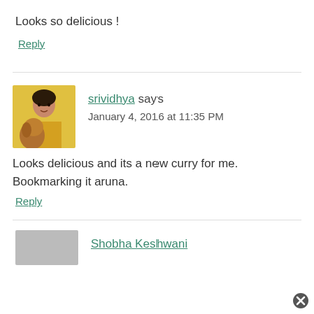Looks so delicious !
Reply
srividhya says
January 4, 2016 at 11:35 PM
Looks delicious and its a new curry for me. Bookmarking it aruna.
Reply
[Figure (photo): Avatar photo of srividhya with a dog]
[Figure (photo): Partial avatar placeholder (gray) at bottom]